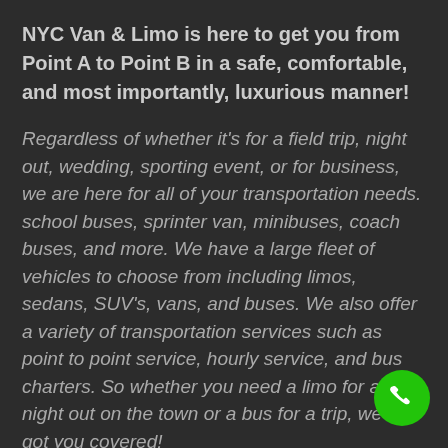NYC Van & Limo is here to get you from Point A to Point B in a safe, comfortable, and most importantly, luxurious manner!
Regardless of whether it's for a field trip, night out, wedding, sporting event, or for business, we are here for all of your transportation needs. school buses, sprinter van, minibuses, coach buses, and more. We have a large fleet of vehicles to choose from including limos, sedans, SUV's, vans, and buses. We also offer a variety of transportation services such as point to point service, hourly service, and bus charters. So whether you need a limo for a night out on the town or a bus for a trip, we've got you covered!
[Figure (illustration): Green circular phone call button in the bottom-right corner]